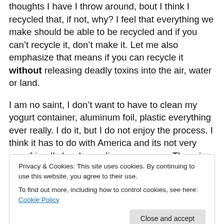thoughts I have I throw around, bout I think I recycled that, if not, why? I feel that everything we make should be able to be recycled and if you can't recycle it, don't make it. Let me also emphasize that means if you can recycle it without releasing deadly toxins into the air, water or land.
I am no saint, I don't want to have to clean my yogurt container, aluminum foil, plastic everything ever really. I do it, but I do not enjoy the process. I think it has to do with America and its not very user friendly local recycling processes.  There is no national recycling marketing machine out there educating us on what we can and can
Privacy & Cookies: This site uses cookies. By continuing to use this website, you agree to their use.
To find out more, including how to control cookies, see here: Cookie Policy
prevention from Smokey the Bear. The Ad Council is a